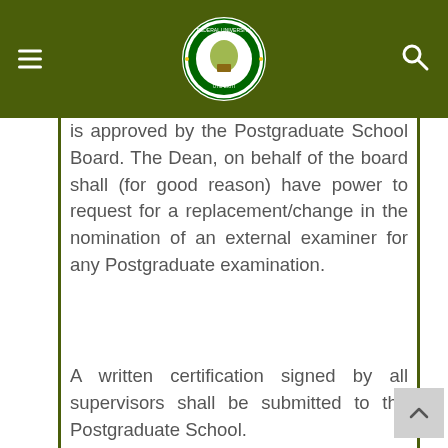Federal University Oye-Ekiti website header with navigation menu and search icon
is approved by the Postgraduate School Board. The Dean, on behalf of the board shall (for good reason) have power to request for a replacement/change in the nomination of an external examiner for any Postgraduate examination.
A written certification signed by all supervisors shall be submitted to the Postgraduate School.
The Dean, Postgraduate